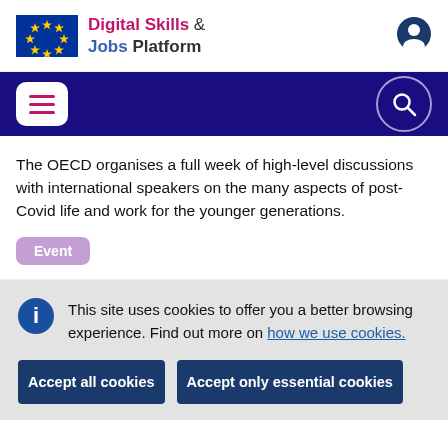Digital Skills & Jobs Platform
The OECD organises a full week of high-level discussions with international speakers on the many aspects of post-Covid life and work for the younger generations.
Event
This site uses cookies to offer you a better browsing experience. Find out more on how we use cookies.
Accept all cookies
Accept only essential cookies